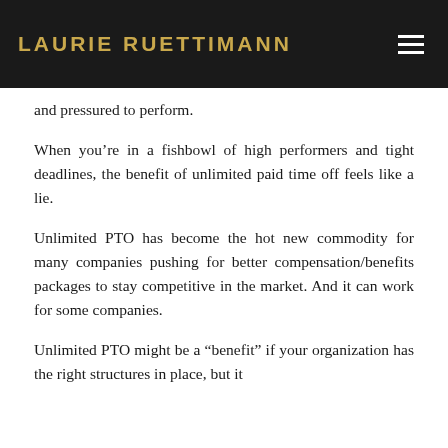LAURIE RUETTIMANN
and pressured to perform.
When you’re in a fishbowl of high performers and tight deadlines, the benefit of unlimited paid time off feels like a lie.
Unlimited PTO has become the hot new commodity for many companies pushing for better compensation/benefits packages to stay competitive in the market. And it can work for some companies.
Unlimited PTO might be a “benefit” if your organization has the right structures in place, but it